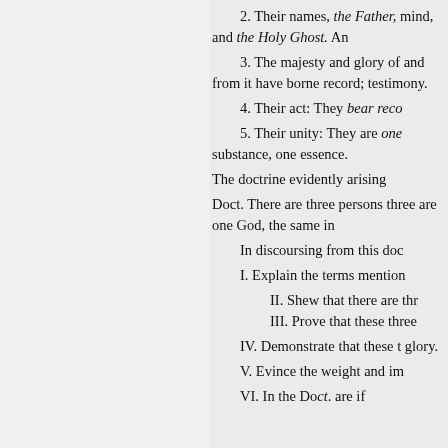2. Their names, the Father, mind, and the Holy Ghost. An
3. The majesty and glory of and from it have borne record; testimony.
4. Their act: They bear reco
5. Their unity: They are one substance, one essence.
The doctrine evidently arising
Doct. There are three persons three are one God, the same in
In discoursing from this doc
I. Explain the terms mention
II. Shew that there are thr
III. Prove that these three
IV. Demonstrate that these t glory.
V. Evince the weight and im
VI. In the Doct. are if